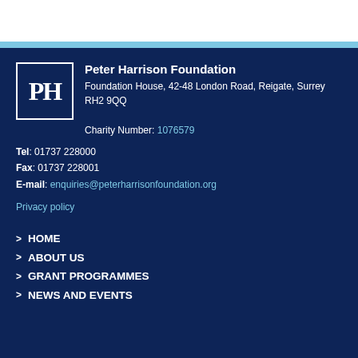[Figure (logo): Peter Harrison Foundation logo — white PH letters inside a bordered box on dark blue background]
Peter Harrison Foundation
Foundation House, 42-48 London Road, Reigate, Surrey RH2 9QQ
Charity Number: 1076579
Tel: 01737 228000
Fax: 01737 228001
E-mail: enquiries@peterharrisonfoundation.org
Privacy policy
> HOME
> ABOUT US
> GRANT PROGRAMMES
> NEWS AND EVENTS